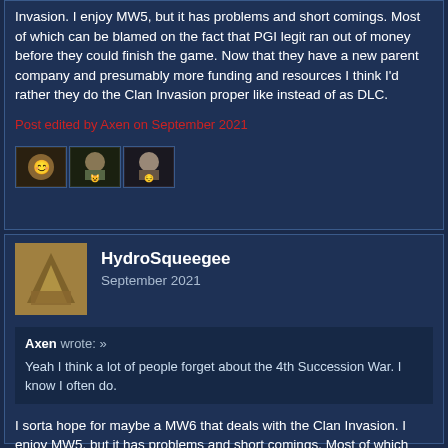Invasion. I enjoy MW5, but it has problems and short comings. Most of which can be blamed on the fact that PGI legit ran out of money before they could finish the game. Now that they have a new parent company and presumably more funding and resources I think I'd rather they do the Clan Invasion proper like instead of as DLC.
Post edited by Axen on September 2021
[Figure (other): Three small reaction/emoji avatar icons]
HydroSqueegee
September 2021
Axen wrote: »
Yeah I think a lot of people forget about the 4th Succession War. I know I often do.
I sorta hope for maybe a MW6 that deals with the Clan Invasion. I enjoy MW5, but it has problems and short comings. Most of which can be blamed on the fact that PGI legit ran out of money before they could finish the game. Now that they have a new parent and